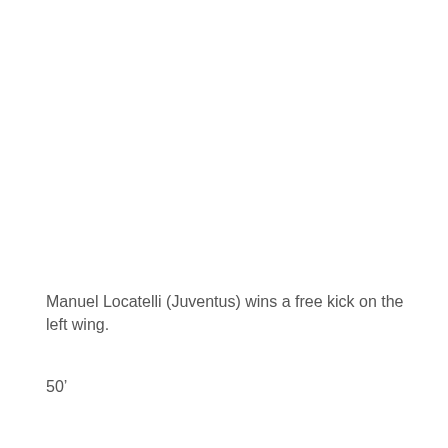Manuel Locatelli (Juventus) wins a free kick on the left wing.
50'